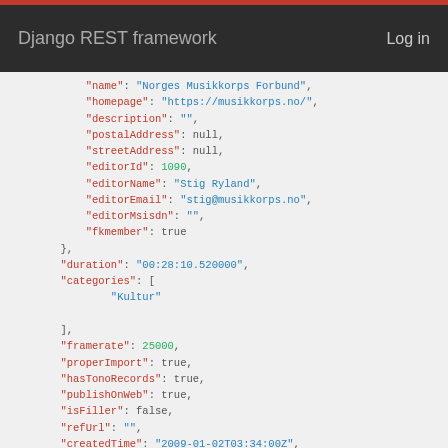Django REST framework   Log in
"name": "Norges Musikkorps Forbund",
"homepage": "https://musikkorps.no/",
"description": "",
"postalAddress": null,
"streetAddress": null,
"editorId": 1090,
"editorName": "Stig Ryland",
"editorEmail": "stig@musikkorps.no",
"editorMsisdn": "",
"fkmember": true
},
"duration": "00:28:10.520000",
"categories": [
    "Kultur"
],
"framerate": 25000,
"properImport": true,
"hasTonoRecords": true,
"publishOnWeb": true,
"isFiller": false,
"refUrl": "",
"createdTime": "2009-01-02T03:34:00Z",
"updatedTime": "2019-11-10T19:29:21.112000Z"